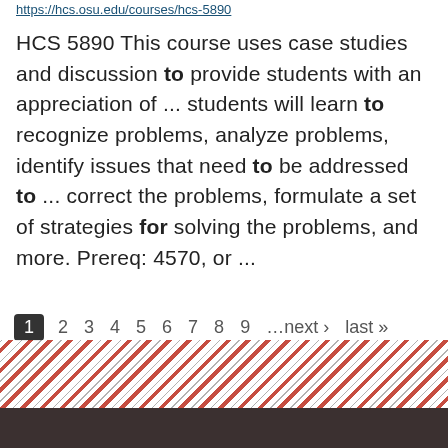https://hcs.osu.edu/courses/hcs-5890
HCS 5890 This course uses case studies and discussion to provide students with an appreciation of ... students will learn to recognize problems, analyze problems, identify issues that need to be addressed to ... correct the problems, formulate a set of strategies for solving the problems, and more. Prereq: 4570, or ...
1 2 3 4 5 6 7 8 9 …next › last »